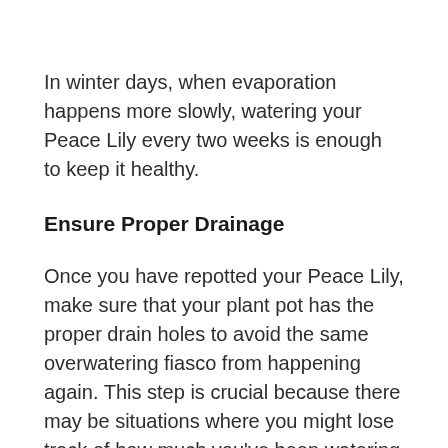In winter days, when evaporation happens more slowly, watering your Peace Lily every two weeks is enough to keep it healthy.
Ensure Proper Drainage
Once you have repotted your Peace Lily, make sure that your plant pot has the proper drain holes to avoid the same overwatering fiasco from happening again. This step is crucial because there may be situations where you might lose track of how much you've been watering your Peace Lily, and having unobstructed drainage holes will help avoid too much moisture in your soil.